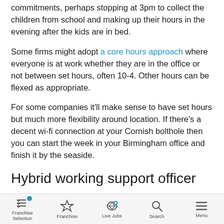commitments, perhaps stopping at 3pm to collect the children from school and making up their hours in the evening after the kids are in bed.
Some firms might adopt a core hours approach where everyone is at work whether they are in the office or not between set hours, often 10-4. Other hours can be flexed as appropriate.
For some companies it'll make sense to have set hours but much more flexibility around location. If there's a decent wi-fi connection at your Cornish bolthole then you can start the week in your Birmingham office and finish it by the seaside.
Hybrid working support officer
Whatever the model there's much for HR to consider.
Franchise Selection | Franchise | Live Jobs | Search | Menu